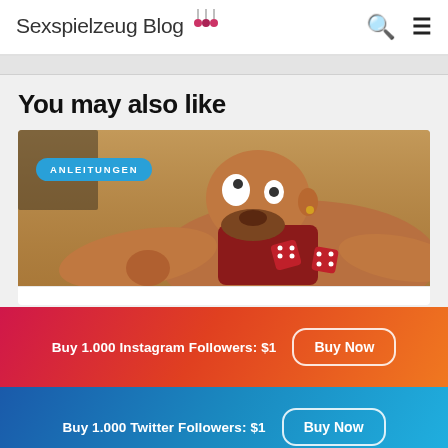Sexspielzeug Blog
You may also like
[Figure (photo): Animated cartoon character lying on a wooden floor, rolling dice, with an alarmed expression. Blue badge overlay reads 'ANLEITUNGEN'.]
[Figure (infographic): Red-to-orange gradient advertisement banner: 'Buy 1.000 Instagram Followers: $1' with a 'Buy Now' button.]
[Figure (infographic): Blue gradient advertisement banner: 'Buy 1.000 Twitter Followers: $1' with a 'Buy Now' button.]